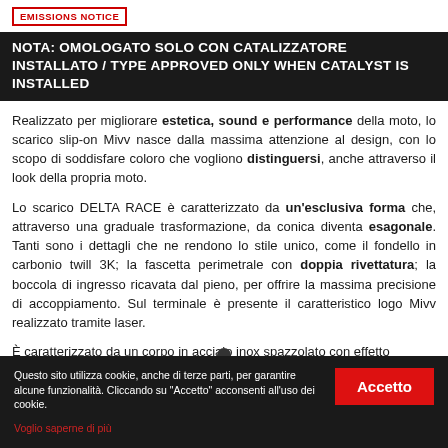EMISSIONS NOTICE
NOTA: OMOLOGATO SOLO CON CATALIZZATORE INSTALLATO / TYPE APPROVED ONLY WHEN CATALYST IS INSTALLED
Realizzato per migliorare estetica, sound e performance della moto, lo scarico slip-on Mivv nasce dalla massima attenzione al design, con lo scopo di soddisfare coloro che vogliono distinguersi, anche attraverso il look della propria moto.
Lo scarico DELTA RACE è caratterizzato da un'esclusiva forma che, attraverso una graduale trasformazione, da conica diventa esagonale. Tanti sono i dettagli che ne rendono lo stile unico, come il fondello in carbonio twill 3K; la fascetta perimetrale con doppia rivettatura; la boccola di ingresso ricavata dal pieno, per offrire la massima precisione di accoppiamento. Sul terminale è presente il caratteristico logo Mivv realizzato tramite laser.
È caratterizzato da un corpo in acciaio inox spazzolato con effetto "pearled", ottenuto grazie a uno speciale processo di finitura che
Questo sito utilizza cookie, anche di terze parti, per garantire alcune funzionalità. Cliccando su "Accetto" acconsenti all'uso dei cookie.
Voglio saperne di più